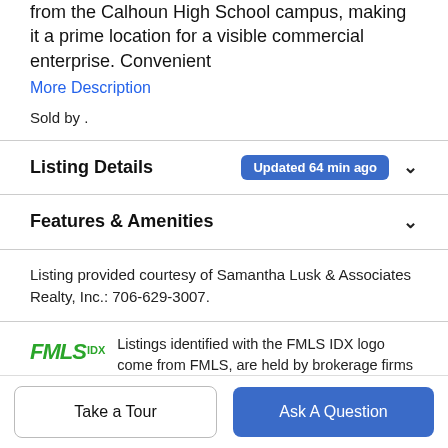from the Calhoun High School campus, making it a prime location for a visible commercial enterprise. Convenient
More Description
Sold by .
Listing Details  Updated 64 min ago
Features & Amenities
Listing provided courtesy of Samantha Lusk & Associates Realty, Inc.: 706-629-3007.
Listings identified with the FMLS IDX logo come from FMLS, are held by brokerage firms other than the owner of this website and the listing brokerage is identified in any listing details. Information is deemed reliable but is
Take a Tour
Ask A Question